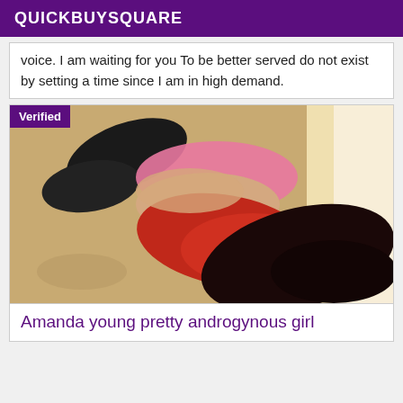QUICKBUYSQUARE
voice. I am waiting for you To be better served do not exist by setting a time since I am in high demand.
[Figure (photo): Photo of a young woman lying on a wooden floor wearing red and pink lingerie with black stockings, with a 'Verified' badge overlay in the top-left corner.]
Amanda young pretty androgynous girl